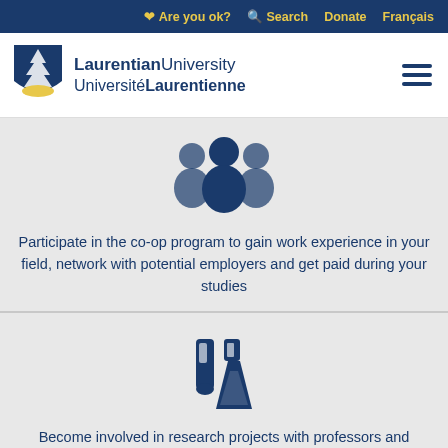Are you ok?  Search  Donate  Français
[Figure (logo): Laurentian University / Université Laurentienne shield logo with tree and gold hill]
LaurentianUniversity UniversitéLaurentienne
[Figure (illustration): Icon of three people silhouettes in dark blue]
Participate in the co-op program to gain work experience in your field, network with potential employers and get paid during your studies
[Figure (illustration): Icon of laboratory flask and test tube in dark blue]
Become involved in research projects with professors and